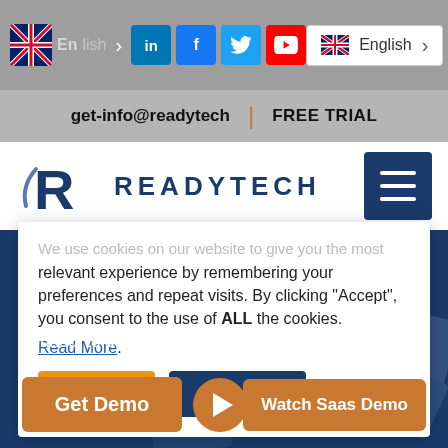English [social icons: LinkedIn, Facebook, Twitter, YouTube]
get-info@readytech | FREE TRIAL
[Figure (logo): ReadyTech logo with stylized R icon and READYTECH wordmark in dark blue]
We use cookies on our website to give you the most relevant experience by remembering your preferences and repeat visits. By clicking "Accept", you consent to the use of ALL the cookies.
Read More.
Accept | Reject All
connect to a remote lab to conduct training.
Get Demo | Watch Saas Demo